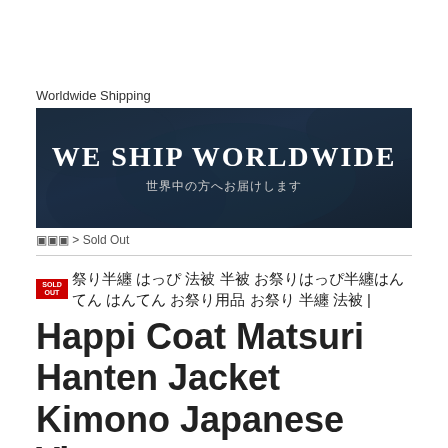Worldwide Shipping
[Figure (illustration): Dark blue fabric background banner with text 'WE SHIP WORLDWIDE' in large white serif font and Japanese subtitle '世界中の方へお届けします']
▣▣▣ > Sold Out
SOLD OUT ▣▣ ▣ ▣▣▣ ▣▣ ▣▣ ▣▣▣▣▣▣▣▣▣▣▣ ▣▣ ▣▣▣ ▣▣▣ | Happi Coat Matsuri Hanten Jacket Kimono Japanese Vintage